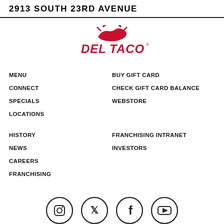2913 SOUTH 23RD AVENUE
[Figure (logo): Del Taco logo — red stylized text with illustration of sun and animal]
MENU
BUY GIFT CARD
CONNECT
CHECK GIFT CARD BALANCE
SPECIALS
WEBSTORE
LOCATIONS
HISTORY
FRANCHISING INTRANET
NEWS
INVESTORS
CAREERS
FRANCHISING
[Figure (illustration): Four social media icons in circles: Instagram, Twitter/X, Facebook, YouTube]